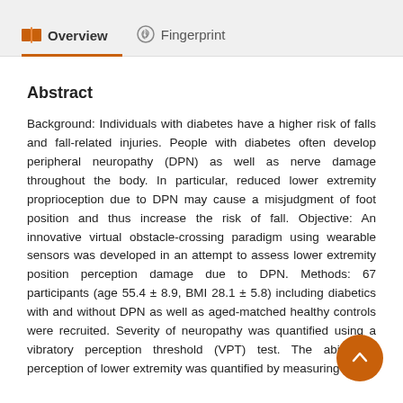Overview   Fingerprint
Abstract
Background: Individuals with diabetes have a higher risk of falls and fall-related injuries. People with diabetes often develop peripheral neuropathy (DPN) as well as nerve damage throughout the body. In particular, reduced lower extremity proprioception due to DPN may cause a misjudgment of foot position and thus increase the risk of fall. Objective: An innovative virtual obstacle-crossing paradigm using wearable sensors was developed in an attempt to assess lower extremity position perception damage due to DPN. Methods: 67 participants (age 55.4 ± 8.9, BMI 28.1 ± 5.8) including diabetics with and without DPN as well as aged-matched healthy controls were recruited. Severity of neuropathy was quantified using a vibratory perception threshold (VPT) test. The ability of perception of lower extremity was quantified by measuring